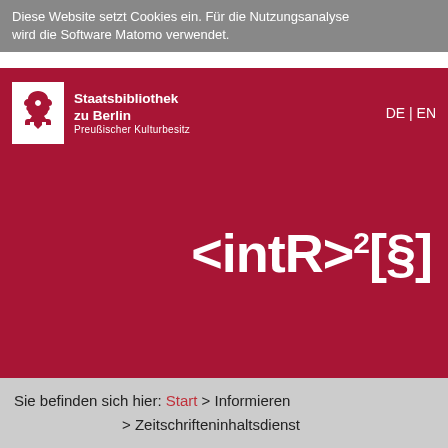Diese Website setzt Cookies ein. Für die Nutzungsanalyse wird die Software Matomo verwendet.
[Figure (logo): Staatsbibliothek zu Berlin Preußischer Kulturbesitz logo with eagle emblem on white background, set on dark red/maroon header bar. Language switcher DE | EN shown on right.]
[Figure (logo): intR>2[§] logo in white text on dark red background, center-right aligned]
[Figure (other): Two-column dark red section below main hero area]
Sie befinden sich hier: Start > Informieren > Zeitschrifteninhaltsdienst